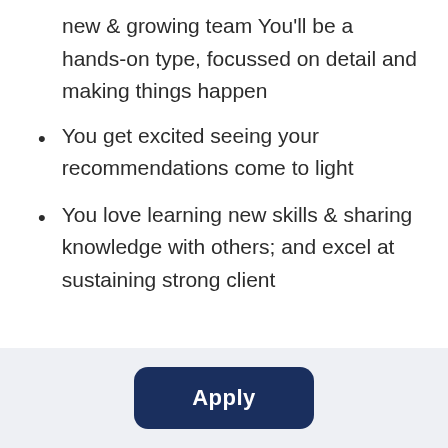new & growing team You'll be a hands-on type, focussed on detail and making things happen
You get excited seeing your recommendations come to light
You love learning new skills & sharing knowledge with others; and excel at sustaining strong client